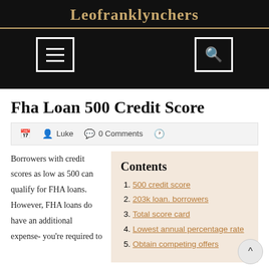Leofranklynchers
Fha Loan 500 Credit Score
Luke  0 Comments
Borrowers with credit scores as low as 500 can qualify for FHA loans. However, FHA loans do have an additional expense- you're required to
Contents
500 credit score
203k loan. borrowers
Total score card
Lowest annual percentage rate
Obtain competing offers